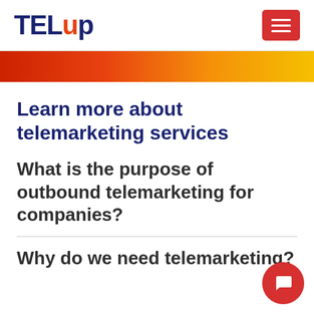TELup
[Figure (logo): TelUp logo with hamburger menu button]
[Figure (illustration): Gradient bar from red to orange to yellow]
Learn more about telemarketing services
What is the purpose of outbound telemarketing for companies?
Why do we need telemarketing?